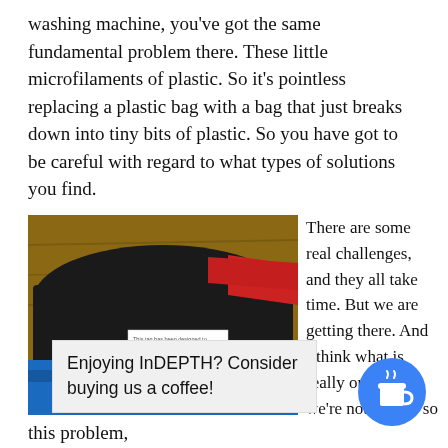washing machine, you've got the same fundamental problem there. These little microfilaments of plastic. So it's pointless replacing a plastic bag with a bag that just breaks down into tiny bits of plastic. So you have got to be careful with regard to what types of solutions you find.
[Figure (photo): Close-up photo of folded clothing items including a black garment and a blue garment, with a white label tag reading 'This tag has been designed to include no plastic as part of our']
There are some real challenges, and they all take time. But we are getting there. And I think what is really encouraging, we're not [doing th...] [e so...] this problem,
Enjoying InDEPTH? Consider buying us a coffee!
this problem,